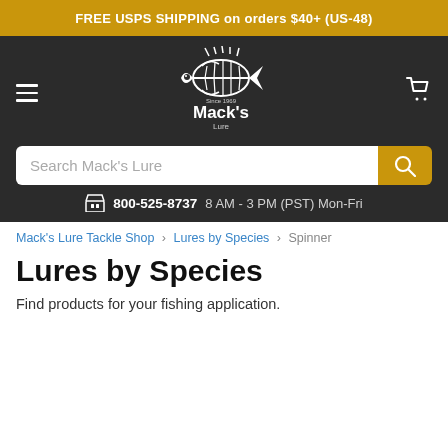FREE USPS SHIPPING on orders $40+ (US-48)
[Figure (logo): Mack's Lure logo — skeletal fish with spines, white on dark background, with text 'Mack's Lure']
Search Mack's Lure
800-525-8737  8 AM - 3 PM (PST) Mon-Fri
Mack's Lure Tackle Shop > Lures by Species > Spinner
Lures by Species
Find products for your fishing application.